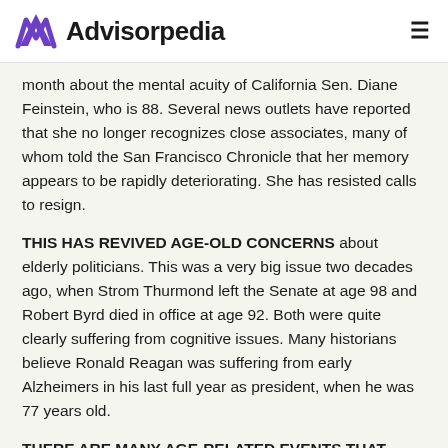Advisorpedia
month about the mental acuity of California Sen. Diane Feinstein, who is 88. Several news outlets have reported that she no longer recognizes close associates, many of whom told the San Francisco Chronicle that her memory appears to be rapidly deteriorating. She has resisted calls to resign.
THIS HAS REVIVED AGE-OLD CONCERNS about elderly politicians. This was a very big issue two decades ago, when Strom Thurmond left the Senate at age 98 and Robert Byrd died in office at age 92. Both were quite clearly suffering from cognitive issues. Many historians believe Ronald Reagan was suffering from early Alzheimers in his last full year as president, when he was 77 years old.
THERE ARE MANY AGE-RELATED EVENTS THAT